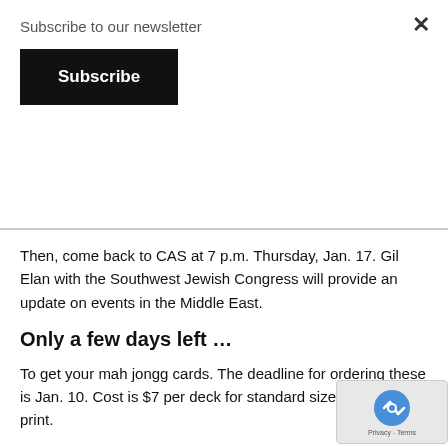Subscribe to our newsletter
Subscribe
Then, come back to CAS at 7 p.m. Thursday, Jan. 17. Gil Elan with the Southwest Jewish Congress will provide an update on events in the Middle East.
Only a few days left …
To get your mah jongg cards. The deadline for ordering these is Jan. 10. Cost is $7 per deck for standard size; $8 for large print.
Put your order and a check payable to Barbara Weinberg and send it to her at 4600 Westlake Dr., Fort Worth, T… 76132. The proceeds benefit Hadassah. Questions? C… Barbara at 817-346-0331.